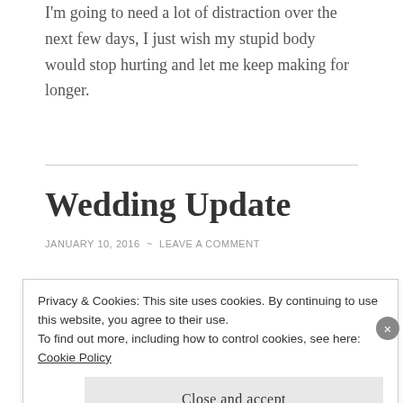I'm going to need a lot of distraction over the next few days, I just wish my stupid body would stop hurting and let me keep making for longer.
Wedding Update
JANUARY 10, 2016 ~ LEAVE A COMMENT
My daughter has let me have copies of her wedding
Privacy & Cookies: This site uses cookies. By continuing to use this website, you agree to their use.
To find out more, including how to control cookies, see here: Cookie Policy
Close and accept